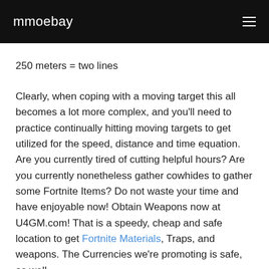mmoebay
250 meters = two lines
Clearly, when coping with a moving target this all becomes a lot more complex, and you'll need to practice continually hitting moving targets to get utilized for the speed, distance and time equation. Are you currently tired of cutting helpful hours? Are you currently nonetheless gather cowhides to gather some Fortnite Items? Do not waste your time and have enjoyable now! Obtain Weapons now at U4GM.com! That is a speedy, cheap and safe location to get Fortnite Materials, Traps, and weapons. The Currencies we're promoting is safe, as well